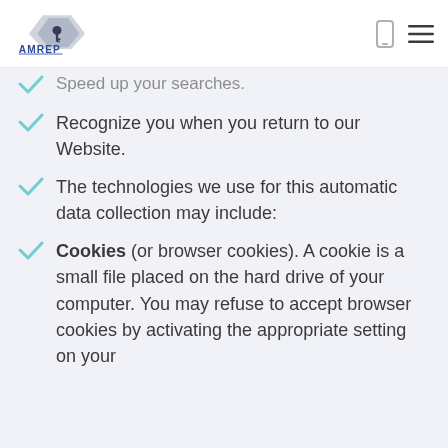AMREP
Speed up your searches.
Recognize you when you return to our Website.
The technologies we use for this automatic data collection may include:
Cookies (or browser cookies). A cookie is a small file placed on the hard drive of your computer. You may refuse to accept browser cookies by activating the appropriate setting on your